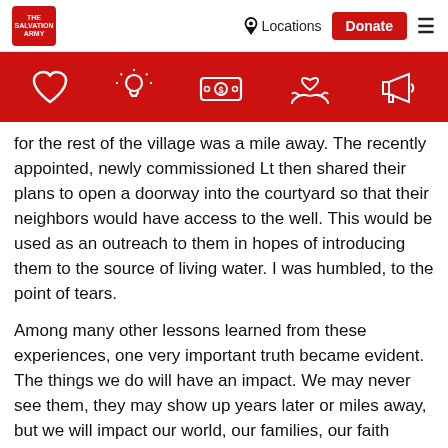Salvation Army navigation bar with logo, Locations, Donate button, and menu
[Figure (infographic): Red banner with white icons: heart, lightbulb, dollar bill, hands holding heart, megaphone]
for the rest of the village was a mile away. The recently appointed, newly commissioned Lt then shared their plans to open a doorway into the courtyard so that their neighbors would have access to the well. This would be used as an outreach to them in hopes of introducing them to the source of living water. I was humbled, to the point of tears.

Among many other lessons learned from these experiences, one very important truth became evident. The things we do will have an impact. We may never see them, they may show up years later or miles away, but we will impact our world, our families, our faith communities, and people we don't even know by how we act and respond today. Those responses can be as routine as fertilizing a field or as complex as raising a child or responding to someone in need. The impact is there, and we need to be sure that it